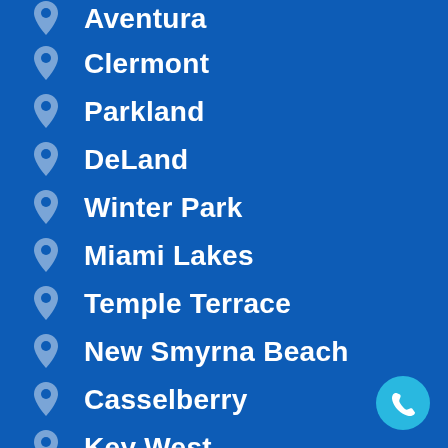Aventura
Clermont
Parkland
DeLand
Winter Park
Miami Lakes
Temple Terrace
New Smyrna Beach
Casselberry
Key West
Hale... Ci... (partial)